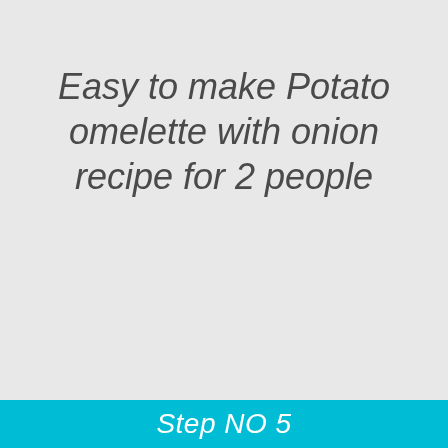Easy to make Potato omelette with onion recipe for 2 people
Step NO 5